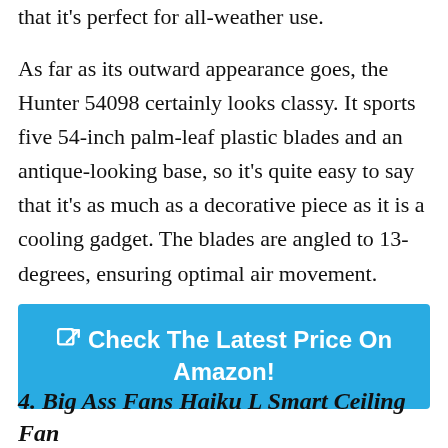that it's perfect for all-weather use.
As far as its outward appearance goes, the Hunter 54098 certainly looks classy. It sports five 54-inch palm-leaf plastic blades and an antique-looking base, so it's quite easy to say that it's as much as a decorative piece as it is a cooling gadget. The blades are angled to 13-degrees, ensuring optimal air movement.
Check The Latest Price On Amazon!
4. Big Ass Fans Haiku L Smart Ceiling Fan